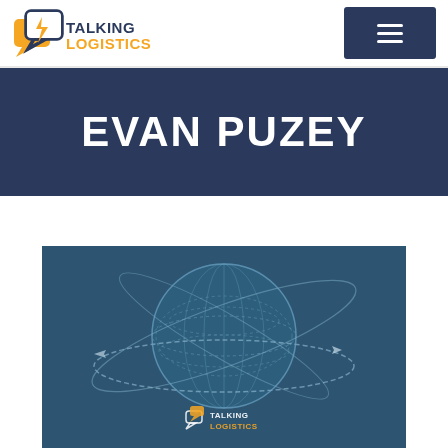TALKING LOGISTICS — Navigation header with hamburger menu
EVAN PUZEY
[Figure (illustration): Globe with orbital rings illustration overlaid with Talking Logistics logo, on a dark navy/teal background. The globe shows a wireframe-style world with dotted orbital rings around it.]